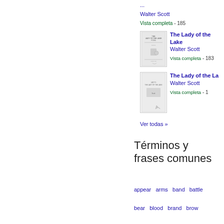...
Walter Scott
Vista completa - 185...
The Lady of the Lake
Walter Scott
Vista completa - 183...
The Lady of the La...
Walter Scott
Vista completa - 1...
Ver todas »
Términos y frases comunes
appear  arms  band  battle  bear  blood  brand  brow  called  Castle  cause